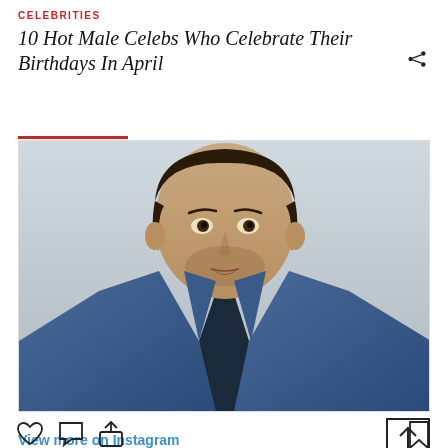CELEBRITIES
10 Hot Male Celebs Who Celebrate Their Birthdays In April
[Figure (photo): Close-up portrait of a man in a blue suit jacket and dark shirt, looking upward slightly with mouth slightly open, against a light gray background.]
View more on Instagram